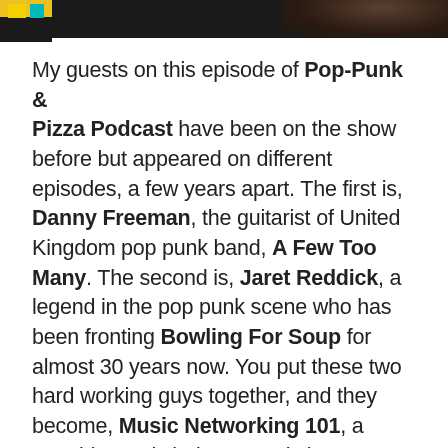[Figure (photo): Top portion of two photos side by side, cropped at the top of the page. Left photo shows a yellow and teal element at top. Right photo shows a dark circular shape (head) against a dark background.]
My guests on this episode of Pop-Punk & Pizza Podcast have been on the show before but appeared on different episodes, a few years apart. The first is, Danny Freeman, the guitarist of United Kingdom pop punk band, A Few Too Many. The second is, Jaret Reddick, a legend in the pop punk scene who has been fronting Bowling For Soup for almost 30 years now. You put these two hard working guys together, and they become, Music Networking 101, a monthly music industry workshop featuring well known special guests and keynote speakers. We dive deep into topics such as marketing your band and how to run social media as a creative